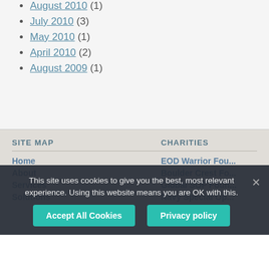August 2010 (1)
July 2010 (3)
May 2010 (1)
April 2010 (2)
August 2009 (1)
SITE MAP
CHARITIES
Home
About
Services
Solutions
EOD Warrior Fou...
Boulder Crest Fo...
Global SOF Foun...
Navy Special Op...
This site uses cookies to give you the best, most relevant experience. Using this website means you are OK with this.
Accept All Cookies
Privacy policy